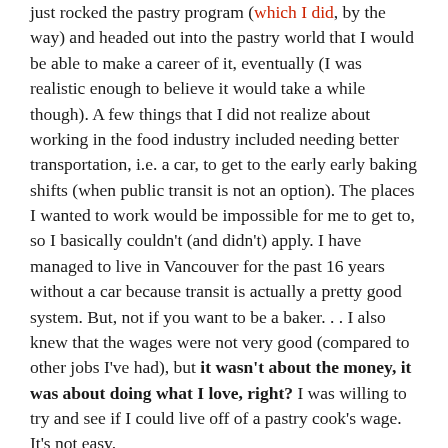just rocked the pastry program (which I did, by the way) and headed out into the pastry world that I would be able to make a career of it, eventually (I was realistic enough to believe it would take a while though). A few things that I did not realize about working in the food industry included needing better transportation, i.e. a car, to get to the early early baking shifts (when public transit is not an option). The places I wanted to work would be impossible for me to get to, so I basically couldn't (and didn't) apply. I have managed to live in Vancouver for the past 16 years without a car because transit is actually a pretty good system. But, not if you want to be a baker. . . I also knew that the wages were not very good (compared to other jobs I've had), but it wasn't about the money, it was about doing what I love, right? I was willing to try and see if I could live off of a pastry cook's wage. It's not easy.
Here is a great article about the cost of cooking for love. One of my Chef's from school recently shared it on social